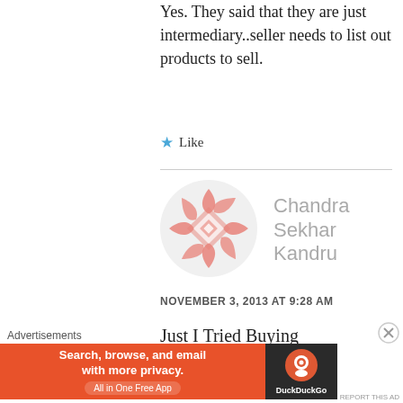Yes. They said that they are just intermediary..seller needs to list out products to sell.
Like
[Figure (illustration): WordPress-style user avatar icon with salmon/pink geometric quilt pattern in a circle]
Chandra Sekhar Kandru
NOVEMBER 3, 2013 AT 9:28 AM
Just I Tried Buying N7(2012),
Advertisements
[Figure (screenshot): DuckDuckGo advertisement banner: orange background with text 'Search, browse, and email with more privacy. All in One Free App' and DuckDuckGo logo on dark right panel]